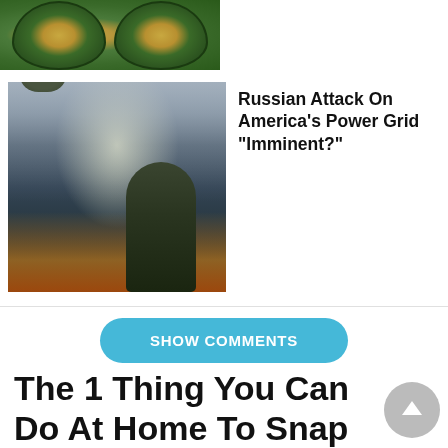[Figure (photo): Cropped top of avocado halves showing green skin and yellow-green flesh]
[Figure (photo): News article photo: soldier in helmet standing amid fire and smoke in a conflict zone, likely Ukraine Maidan protests]
Russian Attack On America's Power Grid “Imminent?”
SHOW COMMENTS
The 1 Thing You Can Do At Home To Snap Back Sagging Skin